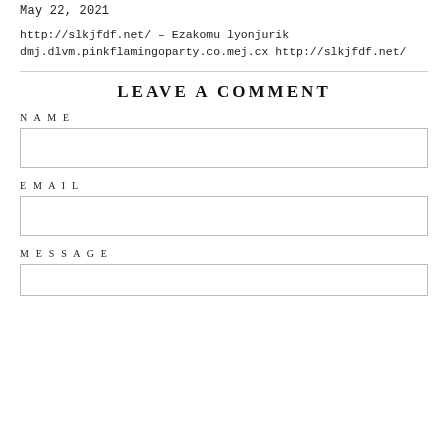May 22, 2021
http://slkjfdf.net/ – Ezakomu lyonjurik dmj.dlvm.pinkflamingoparty.co.mej.cx http://slkjfdf.net/
LEAVE A COMMENT
NAME
EMAIL
MESSAGE